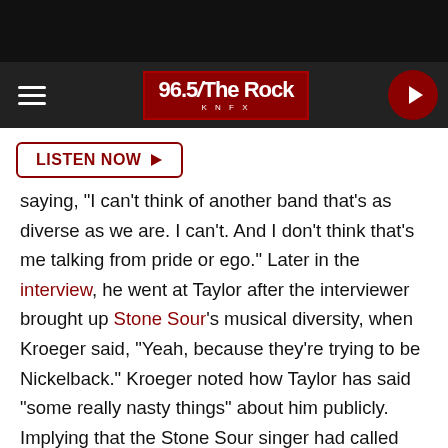[Figure (screenshot): 96.5 The Rock KNFX radio station logo in dark red box with white text, centered in navigation bar]
LISTEN NOW ▶
saying, "I can't think of another band that's as diverse as we are. I can't. And I don't think that's me talking from pride or ego." Later in the interview, he went at Taylor after the interviewer brought up Stone Sour's musical diversity, when Kroeger said, "Yeah, because they're trying to be Nickelback." Kroeger noted how Taylor has said "some really nasty things" about him publicly. Implying that the Stone Sour singer had called writing a hit song easy, the Nickelback frontman implored Taylor, "Well, show me. Show me. Write one. I have yet to hear one."
Nickelback will be embarking on tour this summer through